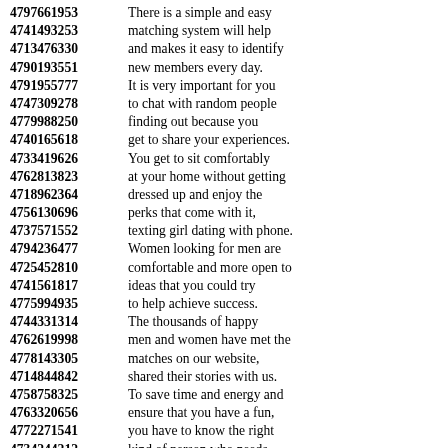4797661953 There is a simple and easy
4741493253 matching system will help
4713476330 and makes it easy to identify
4790193551 new members every day.
4791955777 It is very important for you
4747309278 to chat with random people
4779988250 finding out because you
4740165618 get to share your experiences.
4733419626 You get to sit comfortably
4762813823 at your home without getting
4718962364 dressed up and enjoy the
4756130696 perks that come with it,
4737571552 texting girl dating with phone.
4794236477 Women looking for men are
4725452810 comfortable and more open to
4741561817 ideas that you could try
4775994935 to help achieve success.
4744331314 The thousands of happy
4762619998 men and women have met the
4778143305 matches on our website,
4714844842 shared their stories with us.
4758758325 To save time and energy and
4763320656 ensure that you have a fun,
4772271541 you have to know the right
4734244212 kind of person who needs